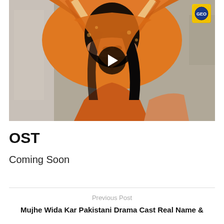[Figure (screenshot): Video thumbnail showing a woman in an orange dupatta/shawl covering her face, with a play button overlay in the center and a Geo TV logo in the top-right corner.]
OST
Coming Soon
Previous Post
Mujhe Wida Kar Pakistani Drama Cast Real Name &